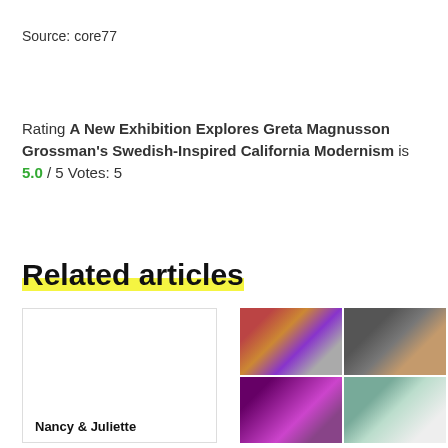Source: core77
Rating A New Exhibition Explores Greta Magnusson Grossman's Swedish-Inspired California Modernism is 5.0 / 5 Votes: 5
Related articles
[Figure (photo): Article card placeholder with title Nancy & Juliette]
[Figure (photo): 2x2 grid of photos: event posters/banners, a person in a black t-shirt, purple-lit interior space, modernist building exterior]